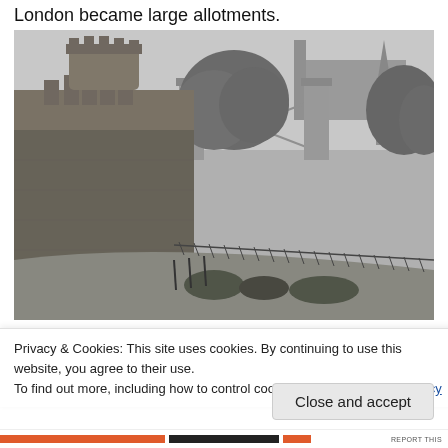London became large allotments.
[Figure (photo): Black and white historical photograph of the Tower of London showing stone walls with battlements covered in ivy, a round tower with crenellations, trees, and Tower Bridge visible in the misty background. A curved road with iron railings runs along the foreground.]
Privacy & Cookies: This site uses cookies. By continuing to use this website, you agree to their use.
To find out more, including how to control cookies, see here: Cookie Policy
Close and accept